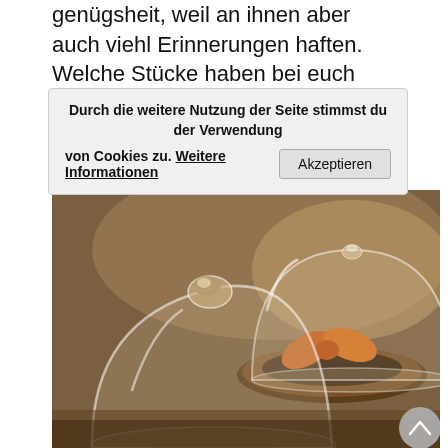genügsheit, weil an ihnen aber auch viehl Erinnerungen haften. Welche Stücke haben bei euch eine Geschichte zu erzählen?
Durch die weitere Nutzung der Seite stimmst du der Verwendung von Cookies zu. Weitere Informationen [Akzeptieren]
[Figure (photo): Photo of two glass bell jar cloches on a wooden surface. One larger cloche in the background contains an orange decorative bow on a round wooden tray. A smaller cloche is in the foreground. Background is a warm brown/amber tone.]